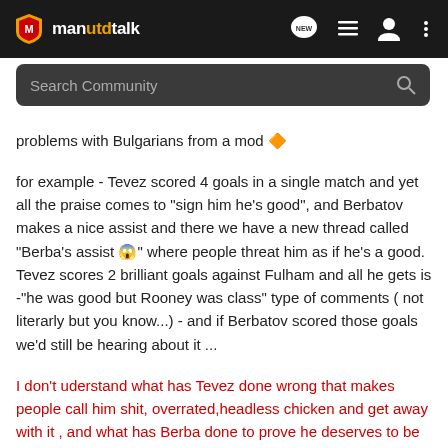manutdtalk
Search Community
problems with Bulgarians from a mod 🔶
for example - Tevez scored 4 goals in a single match and yet all the praise comes to "sign him he's good", and Berbatov makes a nice assist and there we have a new thread called "Berba's assist 😱" where people threat him as if he's a good. Tevez scores 2 brilliant goals against Fulham and all he gets is -"he was good but Rooney was class" type of comments ( not literarly but you know...) - and if Berbatov scored those goals we'd still be hearing about it ...
I don't uderstand what has Tevez done wrong that makes people call him shit, overrated,headless chicken and get away with it , and what has Berba done to prove he deserves to be here , and that he deserves to be defended more than Tevez...